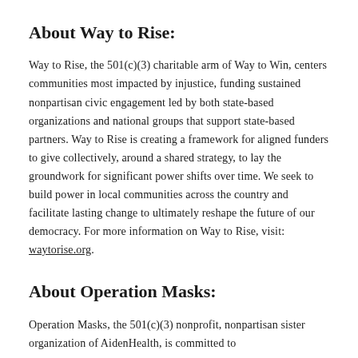About Way to Rise:
Way to Rise, the 501(c)(3) charitable arm of Way to Win, centers communities most impacted by injustice, funding sustained nonpartisan civic engagement led by both state-based organizations and national groups that support state-based partners. Way to Rise is creating a framework for aligned funders to give collectively, around a shared strategy, to lay the groundwork for significant power shifts over time. We seek to build power in local communities across the country and facilitate lasting change to ultimately reshape the future of our democracy. For more information on Way to Rise, visit: waytorise.org.
About Operation Masks:
Operation Masks, the 501(c)(3) nonprofit, nonpartisan sister organization of AidenHealth, is committed to